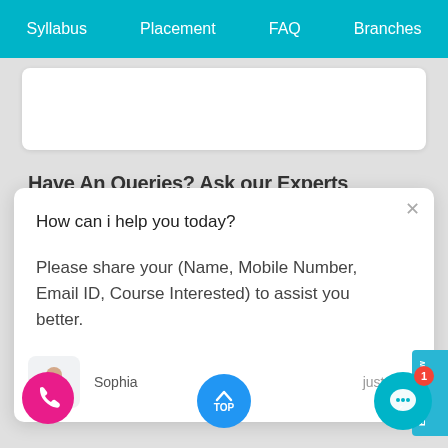Syllabus   Placement   FAQ   Branches
Have An Queries? Ask our Experts
How can i help you today?
Please share your (Name, Mobile Number, Email ID, Course Interested) to assist you better.
Sophia    just now
[Figure (illustration): Chatbot popup card with avatar, message, and floating action buttons at bottom of a website screenshot including phone button, TOP scroll button, and chat icon with badge showing 1]
Enquiry Now